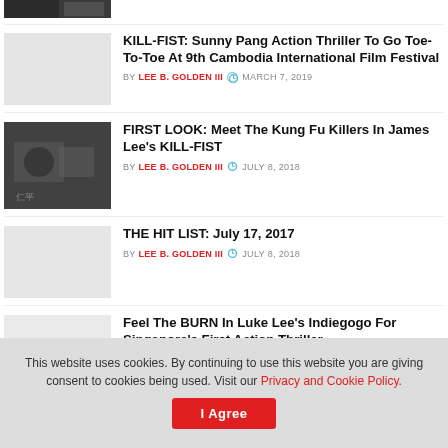[Figure (photo): Partial thumbnail of article at top (cropped, black and white photo)]
KILL-FIST: Sunny Pang Action Thriller To Go Toe-To-Toe At 9th Cambodia International Film Festival BY LEE B. GOLDEN III MARCH 7, 2019
FIRST LOOK: Meet The Kung Fu Killers In James Lee's KILL-FIST BY LEE B. GOLDEN III JULY 8, 2018
THE HIT LIST: July 17, 2017 BY LEE B. GOLDEN III JULY 8, 2018
Feel The BURN In Luke Lee's Indiegogo For Singapore's First Action Thriller
This website uses cookies. By continuing to use this website you are giving consent to cookies being used. Visit our Privacy and Cookie Policy. I Agree